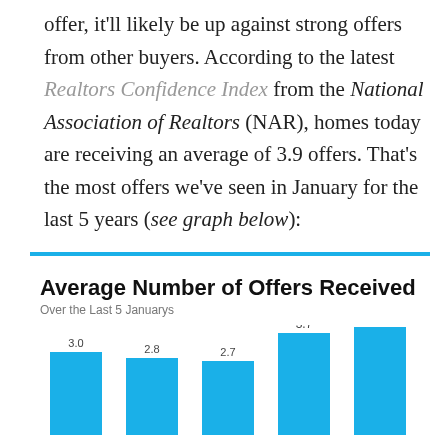offer, it'll likely be up against strong offers from other buyers. According to the latest Realtors Confidence Index from the National Association of Realtors (NAR), homes today are receiving an average of 3.9 offers. That's the most offers we've seen in January for the last 5 years (see graph below):
[Figure (bar-chart): Average Number of Offers Received]